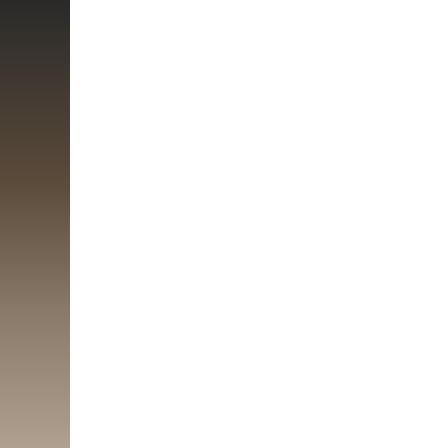[Figure (illustration): Dark gradient left sidebar decorative element]
[Figure (illustration): White content area column]
[Figure (illustration): Light blue separator column]
Photograph D
[Figure (photo): Red poppy flower image for Lieutenant record]
Lieutenant (T... Rank: Lieuten... Regiment: Ro... Degree: N/A Awards: N/A Comments: M... Note/Press Cl... Photograph D...
[Figure (photo): Red poppy flower image for Surgeon record]
Surgeon (Tem... Rank: Surgeo... Regiment: Ro... Degree: LRCP...